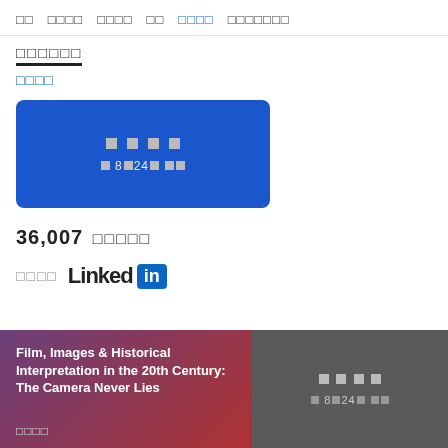□□  □□□□  □□□□  □□  □□□□  □□□□□□□
□□□□□□
□□□□
[Figure (other): Blue card with redacted text: □□□□ / □ 8□24□ □□]
36,007 □□□□□
[Figure (logo): LinkedIn logo with redacted prefix text]
[Figure (other): Bottom banner: left side shows 'Film, Images & Historical Interpretation in the 20th Century: The Camera Never Lies' with subtitle □□□□; right side is grey card with redacted button text]